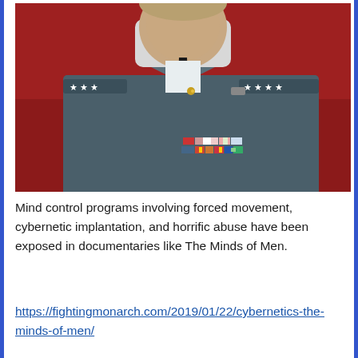[Figure (photo): Portrait photo of a military officer in a grey-blue uniform with medals and rank insignia (general's stars), set against a red background.]
Mind control programs involving forced movement, cybernetic implantation, and horrific abuse have been exposed in documentaries like The Minds of Men.
https://fightingmonarch.com/2019/01/22/cybernetics-the-minds-of-men/